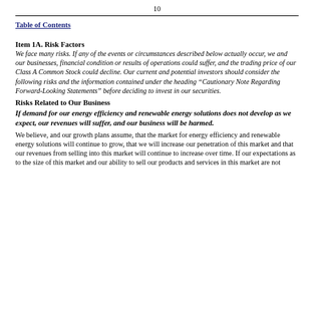10
Table of Contents
Item 1A. Risk Factors
We face many risks. If any of the events or circumstances described below actually occur, we and our businesses, financial condition or results of operations could suffer, and the trading price of our Class A Common Stock could decline. Our current and potential investors should consider the following risks and the information contained under the heading “Cautionary Note Regarding Forward-Looking Statements” before deciding to invest in our securities.
Risks Related to Our Business
If demand for our energy efficiency and renewable energy solutions does not develop as we expect, our revenues will suffer, and our business will be harmed.
We believe, and our growth plans assume, that the market for energy efficiency and renewable energy solutions will continue to grow, that we will increase our penetration of this market and that our revenues from selling into this market will continue to increase over time. If our expectations as to the size of this market and our ability to sell our products and services in this market are not